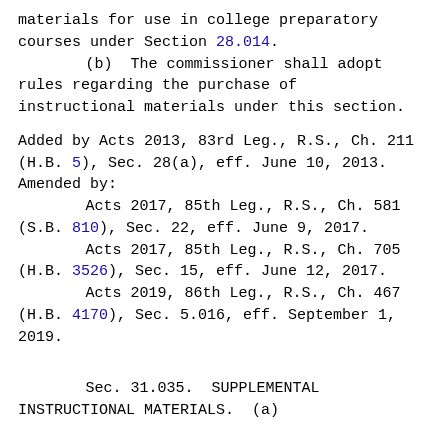materials for use in college preparatory courses under Section 28.014.
        (b)  The commissioner shall adopt rules regarding the purchase of instructional materials under this section.
Added by Acts 2013, 83rd Leg., R.S., Ch. 211 (H.B. 5), Sec. 28(a), eff. June 10, 2013.
Amended by:
        Acts 2017, 85th Leg., R.S., Ch. 581 (S.B. 810), Sec. 22, eff. June 9, 2017.
        Acts 2017, 85th Leg., R.S., Ch. 705 (H.B. 3526), Sec. 15, eff. June 12, 2017.
        Acts 2019, 86th Leg., R.S., Ch. 467 (H.B. 4170), Sec. 5.016, eff. September 1, 2019.
Sec. 31.035.  SUPPLEMENTAL INSTRUCTIONAL MATERIALS.  (a)